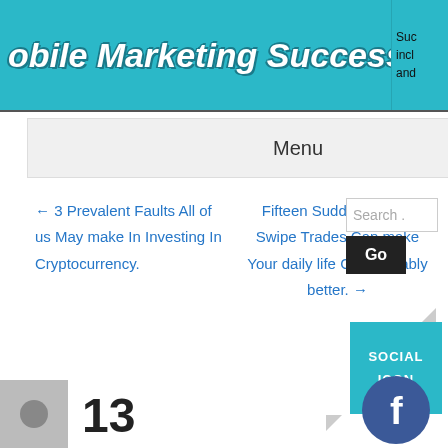obile Marketing Success
Menu
← 3 Prevalent Faults All of us May make In Investing In Cryptocurrency.
Fifteen Sudden Tactics Swipe Trades Can make Your daily life Considerably better. →
13